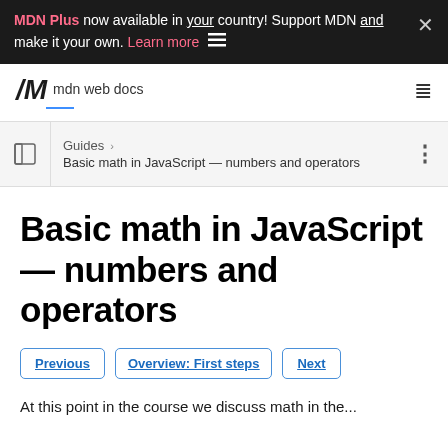MDN Plus now available in your country! Support MDN and make it your own. Learn more
mdn web docs
Guides > Basic math in JavaScript — numbers and operators
Basic math in JavaScript — numbers and operators
Previous | Overview: First steps | Next
At this point in the course we discuss math in the...